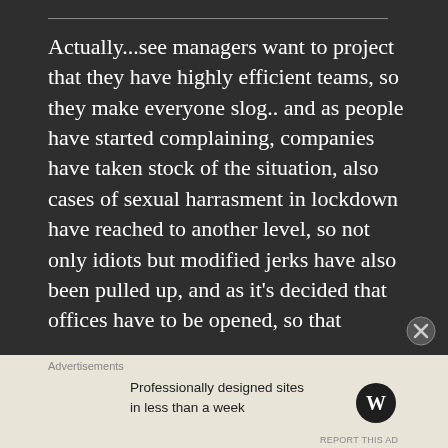Actually...see managers want to project that they have highly efficient teams, so they make everyone slog.. and as people have started complaining, companies have taken stock of the situation, also cases of sexual harrasment in lockdown have reached to another level, so not only idiots but modified jerks have also been pulled up, and as it's decided that offices have to be opened, so that
Advertisements
Professionally designed sites in less than a week